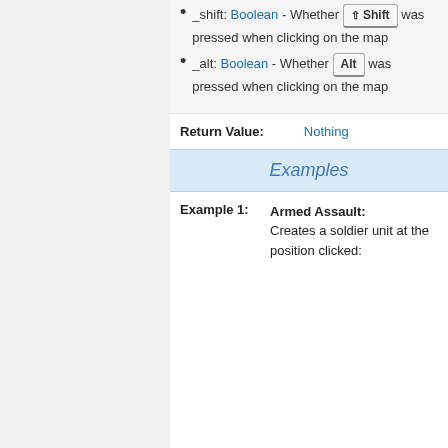_shift: Boolean - Whether ⇧ Shift was pressed when clicking on the map
_alt: Boolean - Whether Alt was pressed when clicking on the map
Return Value: Nothing
Examples
Example 1: Armed Assault: Creates a soldier unit at the position clicked: